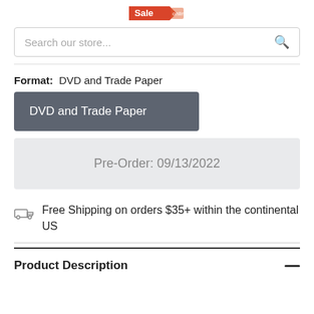[Figure (logo): Store logo with red flag/banner graphic]
Search our store...
Format:  DVD and Trade Paper
DVD and Trade Paper
Pre-Order: 09/13/2022
Free Shipping on orders $35+ within the continental US
Product Description